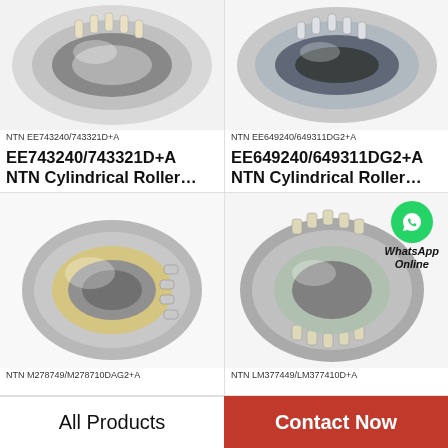[Figure (photo): NTN EE743240/743321D+A cylindrical roller bearing, silver metallic, angled top view]
NTN EE743240/743321D+A
EE743240/743321D+A
NTN Cylindrical Roller…
[Figure (photo): NTN EE649240/649311DG2+A cylindrical roller bearing, silver metallic, angled top view]
NTN EE649240/649311DG2+A
EE649240/649311DG2+A
NTN Cylindrical Roller…
[Figure (photo): NTN M278749/M278710DAG2+A cylindrical roller bearing, gold/silver tones, front view]
NTN M278749/M278710DAG2+A
[Figure (photo): NTN LM377449/LM377410D+A cylindrical roller bearing, silver metallic, front view, with WhatsApp Online overlay]
NTN LM377449/LM377410D+A
All Products
Contact Now